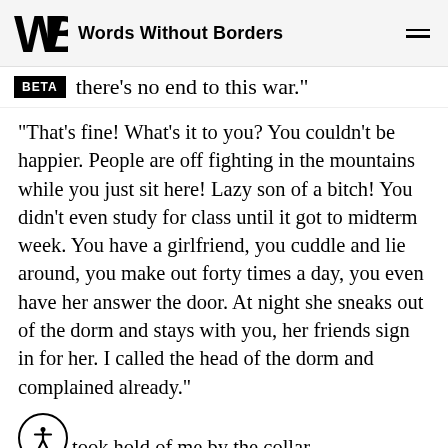Words Without Borders
there’s no end to this war.”
“That’s fine! What’s it to you? You couldn’t be happier. People are off fighting in the mountains while you just sit here! Lazy son of a bitch! You didn’t even study for class until it got to midterm week. You have a girlfriend, you cuddle and lie around, you make out forty times a day, you even have her answer the door. At night she sneaks out of the dorm and stays with you, her friends sign in for her. I called the head of the dorm and complained already.”
took hold of me by the collar.